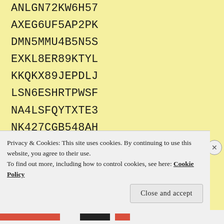ANLGN72KW6H57
AXEG6UF5AP2PK
DMN5MMU4B5N5S
EXKL8ER89KTYL
KKQKX89JEPDLJ
LSN6ESHRTPWSF
NA4LSFQYTXTE3
NK427CGB548AH
PCQ2U3SMY6MRG
SZD36DFLJLY83
ZDP88PYD3DF58
Sentiment to the Heart
Privacy & Cookies: This site uses cookies. By continuing to use this website, you agree to their use.
To find out more, including how to control cookies, see here: Cookie Policy